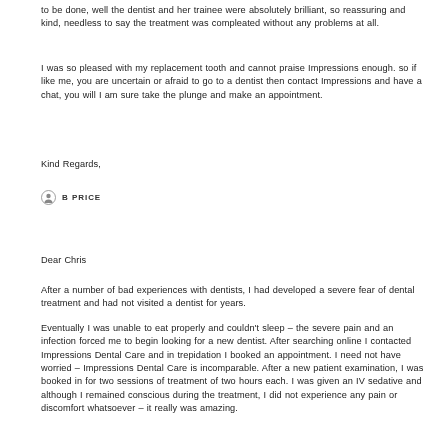to be done, well the dentist and her trainee were absolutely brilliant, so reassuring and kind, needless to say the treatment was compleated without any problems at all.
I was so pleased with my replacement tooth and cannot praise Impressions enough. so if like me, you are uncertain or afraid to go to a dentist then contact Impressions and have a chat, you will I am sure take the plunge and make an appointment.
Kind Regards,
B PRICE
Dear Chris
After a number of bad experiences with dentists, I had developed a severe fear of dental treatment and had not visited a dentist for years.
Eventually I was unable to eat properly and couldn't sleep – the severe pain and an infection forced me to begin looking for a new dentist. After searching online I contacted Impressions Dental Care and in trepidation I booked an appointment. I need not have worried – Impressions Dental Care is incomparable. After a new patient examination, I was booked in for two sessions of treatment of two hours each. I was given an IV sedative and although I remained conscious during the treatment, I did not experience any pain or discomfort whatsoever – it really was amazing.